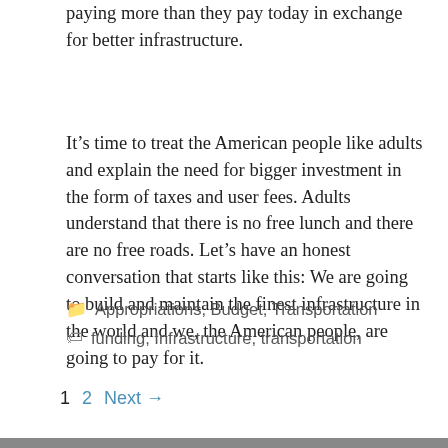paying more than they pay today in exchange for better infrastructure.
It’s time to treat the American people like adults and explain the need for bigger investment in the form of taxes and user fees. Adults understand that there is no free lunch and there are no free roads. Let’s have an honest conversation that starts like this: We are going to build and maintain the finest infrastructure in the world and we, the American people, are going to pay for it.
Appropriations, Budget, Transportation
funding, Infrastructure, transportation
1  2  Next →